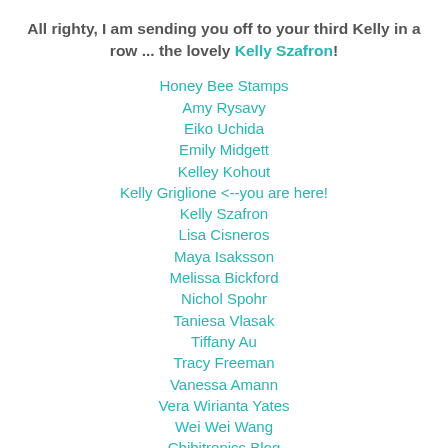All righty, I am sending you off to your third Kelly in a row ... the lovely Kelly Szafron!
Honey Bee Stamps
Amy Rysavy
Eiko Uchida
Emily Midgett
Kelley Kohout
Kelly Griglione <--you are here!
Kelly Szafron
Lisa Cisneros
Maya Isaksson
Melissa Bickford
Nichol Spohr
Taniesa Vlasak
Tiffany Au
Tracy Freeman
Vanessa Amann
Vera Wirianta Yates
Wei Wei Wang
Chibitronics Blog